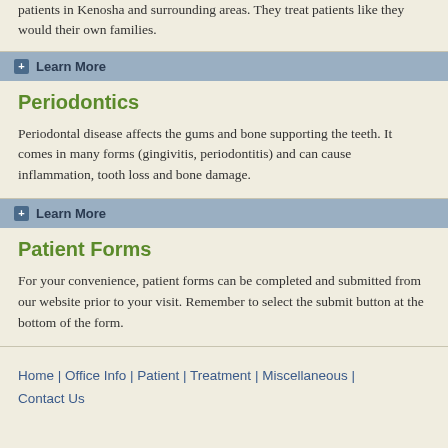patients in Kenosha and surrounding areas. They treat patients like they would their own families.
Learn More
Periodontics
Periodontal disease affects the gums and bone supporting the teeth. It comes in many forms (gingivitis, periodontitis) and can cause inflammation, tooth loss and bone damage.
Learn More
Patient Forms
For your convenience, patient forms can be completed and submitted from our website prior to your visit. Remember to select the submit button at the bottom of the form.
Home | Office Info | Patient | Treatment | Miscellaneous | Contact Us